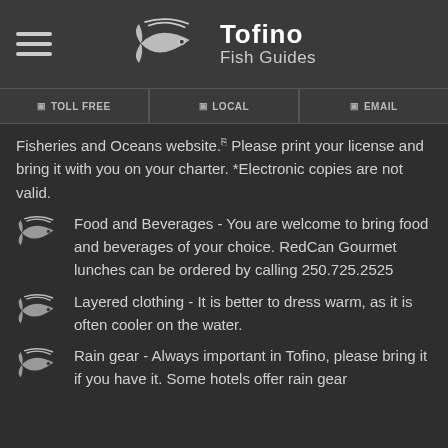Tofino Fish Guides
TOLL FREE | LOCAL | EMAIL
Fisheries and Oceans website. Please print your license and bring it with you on your charter. *Electronic copies are not valid.
Food and Beverages - You are welcome to bring food and beverages of your choice. RedCan Gourmet lunches can be ordered by calling 250.725.2525
Layered clothing - It is better to dress warm, as it is often cooler on the water.
Rain gear - Always important in Tofino, please bring it if you have it. Some hotels offer rain gear